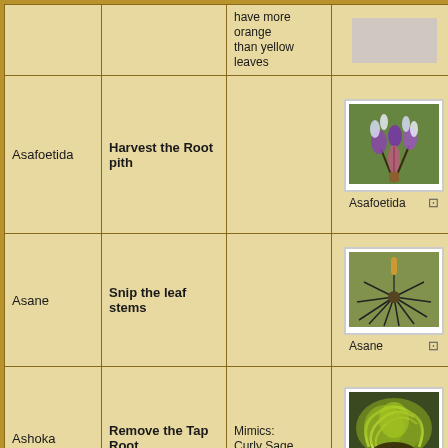| Plant | Method | Notes | Image | Bonus |
| --- | --- | --- | --- | --- |
|  |  | have more orange than yellow leaves | [image] |  |
| Asafoetida | Harvest the Root pith |  | Asafoetida [image] | +End
+Per |
| Asane | Snip the leaf stems |  | Asane [image] |  |
| Ashoka | Remove the Tap Root | Mimics: Curly Sage | Ashoka [image] |  |
|  |  | Note: |  |  |